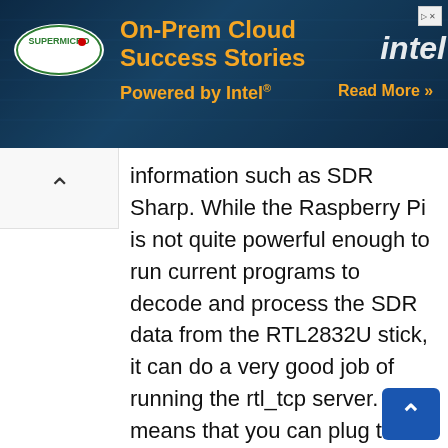[Figure (screenshot): Supermicro and Intel advertisement banner: 'On-Prem Cloud Success Stories, Powered by Intel. Read More >>']
information such as SDR Sharp. While the Raspberry Pi is not quite powerful enough to run current programs to decode and process the SDR data from the RTL2832U stick, it can do a very good job of running the rtl_tcp server. This means that you can plug the RTL2832U stick directly into the Raspberry Pi and wind up with a very small and portable SDR radio server. You can either plug the Raspberry Pi directly to your router or use Wifi for more flexibility in placement. If you decide to go the wifi route, I would suggest you use wireless N since bandwidth can be an issue. You can use either a WiFi dongle on the Raspberry Pi's USB